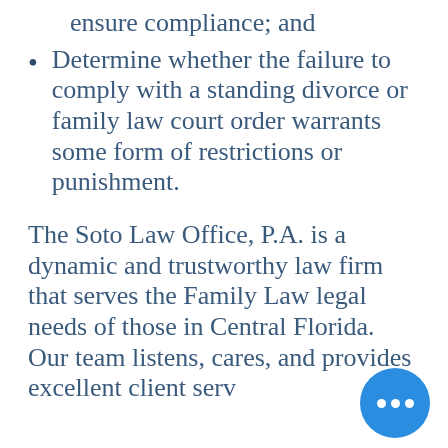ensure compliance; and
Determine whether the failure to comply with a standing divorce or family law court order warrants some form of restrictions or punishment.
The Soto Law Office, P.A. is a dynamic and trustworthy law firm that serves the Family Law legal needs of those in Central Florida. Our team listens, cares, and provides excellent client serv…